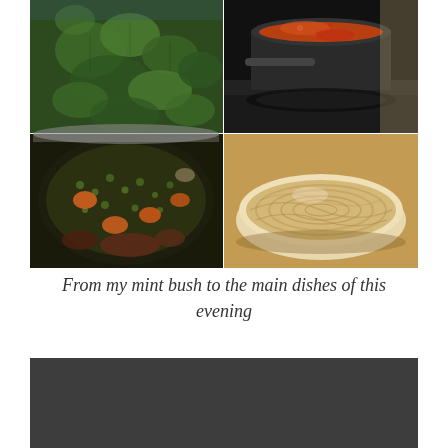[Figure (photo): 2x2 grid of food photos: top-left shows a green mint bush/herb garden, top-right shows a pot of red/orange sauce on a stove, bottom-left shows a large pot of stew with vegetables (carrots, peas, greens, meat), bottom-right shows a bowl of dough or hummus with a swirled surface]
From my mint bush to the main dishes of this evening
[Figure (photo): Dark grey/charcoal colored photo at the bottom of the page, partially visible, appears to be another food or scene photo]